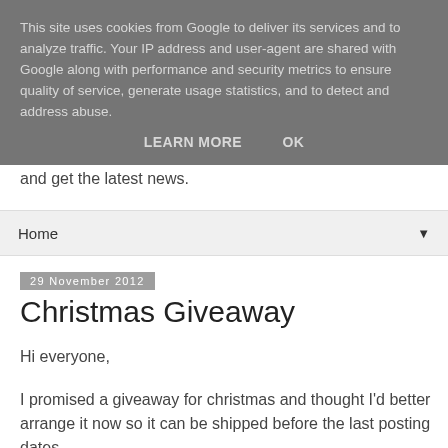This site uses cookies from Google to deliver its services and to analyze traffic. Your IP address and user-agent are shared with Google along with performance and security metrics to ensure quality of service, generate usage statistics, and to detect and address abuse.
LEARN MORE    OK
and get the latest news.
Home ▼
29 November 2012
Christmas Giveaway
Hi everyone,
I promised a giveaway for christmas and thought I'd better arrange it now so it can be shipped before the last posting dates.